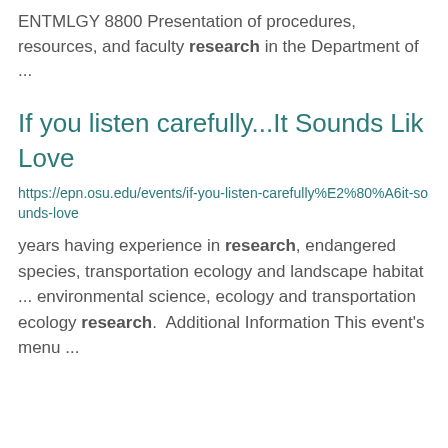ENTMLGY 8800 Presentation of procedures, resources, and faculty research in the Department of ...
If you listen carefully...It Sounds Like Love
https://epn.osu.edu/events/if-you-listen-carefully%E2%80%A6it-sounds-love
years having experience in research, endangered species, transportation ecology and landscape habitat ... environmental science, ecology and transportation ecology research.  Additional Information This event's menu ...